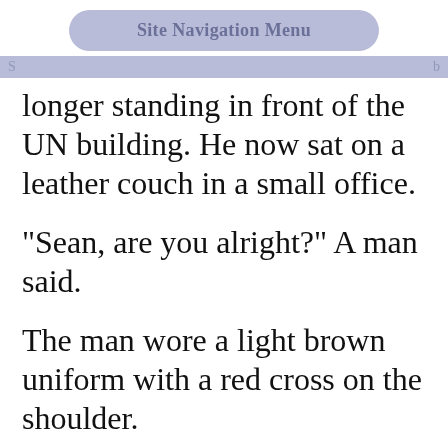Site Navigation Menu
longer standing in front of the UN building. He now sat on a leather couch in a small office.
"Sean, are you alright?" A man said.
The man wore a light brown uniform with a red cross on the shoulder.